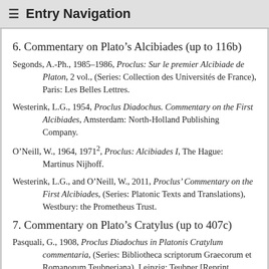≡ Entry Navigation
6. Commentary on Plato's Alcibiades (up to 116b)
Segonds, A.-Ph., 1985–1986, Proclus: Sur le premier Alcibiade de Platon, 2 vol., (Series: Collection des Universités de France), Paris: Les Belles Lettres.
Westerink, L.G., 1954, Proclus Diadochus. Commentary on the First Alcibiades, Amsterdam: North-Holland Publishing Company.
O'Neill, W., 1964, 1971², Proclus: Alcibiades I, The Hague: Martinus Nijhoff.
Westerink, L.G., and O'Neill, W., 2011, Proclus' Commentary on the First Alcibiades, (Series: Platonic Texts and Translations), Westbury: the Prometheus Trust.
7. Commentary on Plato's Cratylus (up to 407c)
Pasquali, G., 1908, Proclus Diadochus in Platonis Cratylum commentaria, (Series: Bibliotheca scriptorum Graecorum et Romanorum Teubneriana), Leipzig: Teubner [Reprint Stuttgart: Teubner, 1994].